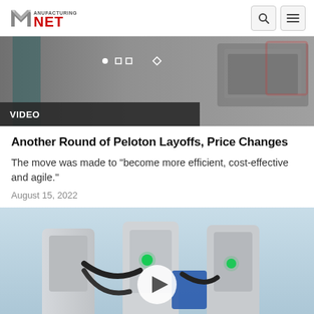Manufacturing.net
[Figure (screenshot): Video carousel hero image showing industrial/manufacturing equipment with navigation dots overlay and VIDEO label]
Another Round of Peloton Layoffs, Price Changes
The move was made to "become more efficient, cost-effective and agile."
August 15, 2022
[Figure (photo): Video thumbnail showing electric vehicle charging station connectors with a play button overlay]